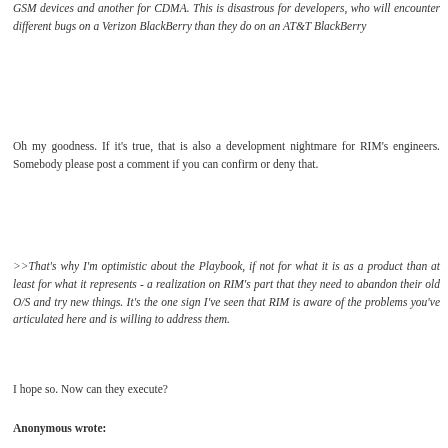GSM devices and another for CDMA. This is disastrous for developers, who will encounter different bugs on a Verizon BlackBerry than they do on an AT&T BlackBerry
Oh my goodness. If it's true, that is also a development nightmare for RIM's engineers. Somebody please post a comment if you can confirm or deny that.
>>That's why I'm optimistic about the Playbook, if not for what it is as a product than at least for what it represents - a realization on RIM's part that they need to abandon their old O/S and try new things. It's the one sign I've seen that RIM is aware of the problems you've articulated here and is willing to address them.
I hope so. Now can they execute?
Anonymous wrote:
>>At this point, the OS (according to an app developer I spoke with at CES last year) is too inflexible to develop on